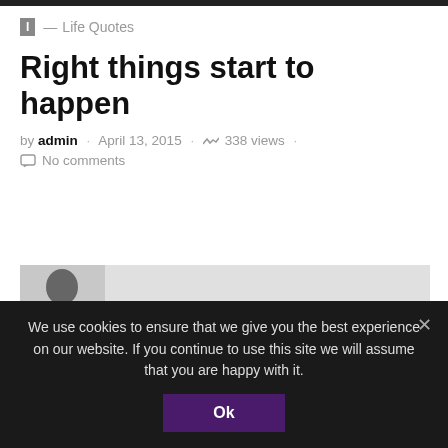I — Life Quotes
Right things start to happen
by admin · April 13, 2015 · 338 views · No comments
[Figure (photo): Silhouette of a person with text: 'my life and make it amazing and I thank the ones who left']
We use cookies to ensure that we give you the best experience on our website. If you continue to use this site we will assume that you are happy with it. Ok